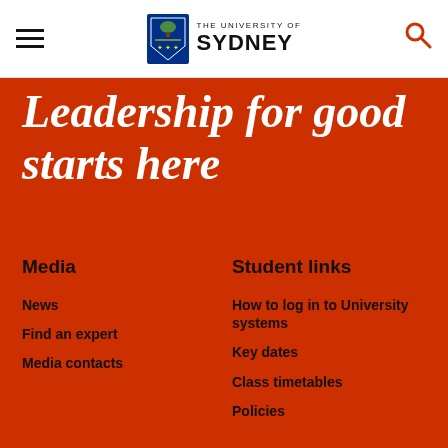The University of Sydney
Leadership for good starts here
Media
News
Find an expert
Media contacts
Student links
How to log in to University systems
Key dates
Class timetables
Policies
About us
Our rankings
Faculties and schools
Connect
Contact us
Find a staff member